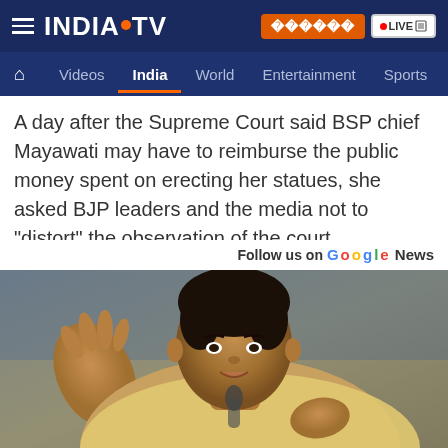INDIA TV — [Hindi button] [LIVE button]
🏠 Videos  India  World  Entertainment  Sports
A day after the Supreme Court said BSP chief Mayawati may have to reimburse the public money spent on erecting her statues, she asked BJP leaders and the media not to "distort" the observation of the court.
Follow us on Google News
[Figure (photo): Photo of Mayawati gesturing with her hand raised, wearing a light yellow dupatta, speaking at a press conference with a dark background]